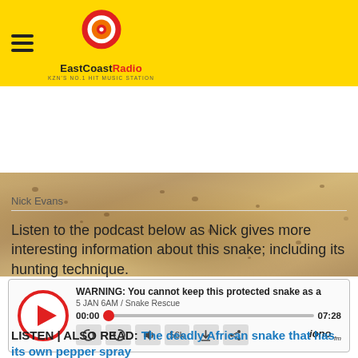EastCoastRadio - KZN's No.1 Hit Music Station
[Figure (photo): Close-up photo of snake scales/skin in sandy brown tones]
Nick Evans
Listen to the podcast below as Nick gives more interesting information about this snake; including its hunting technique.
[Figure (screenshot): Podcast player widget showing: WARNING: You cannot keep this protected snake as a - 5 JAN 6AM / Snake Rescue - 00:00 timecode - 07:28 duration - playback controls - 56k quality - iono.fm logo]
LISTEN | ALSO READ: The deadly African snake that has its own pepper spray